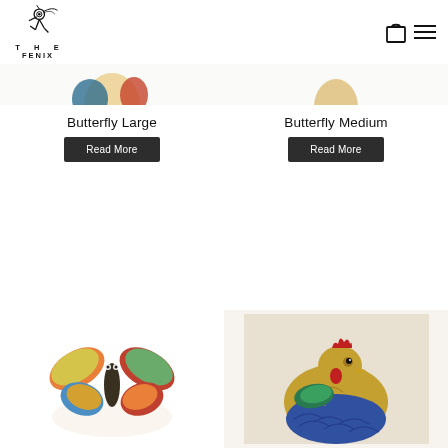[Figure (logo): The Fenix store logo with stylized figure and text THE FENIX]
[Figure (illustration): Partially visible ceramic butterfly large figurine (top portion cut off)]
[Figure (illustration): Partially visible ceramic butterfly medium figurine (top portion cut off)]
Butterfly Large
Butterfly Medium
Read More
Read More
[Figure (photo): Ceramic butterfly figurine with colorful orange, red, blue petals/wings]
[Figure (photo): Ceramic rooster/chicken figurine, colorful blue yellow red]